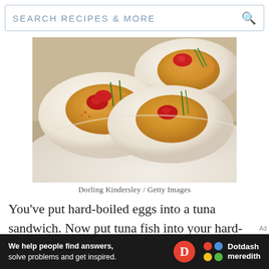SEARCH RECIPES & MORE
[Figure (photo): Deviled eggs topped with cherry tomatoes and chives on a white plate, close-up food photography]
Dorling Kindersley / Getty Images
You've put hard-boiled eggs into a tuna sandwich. Now put tuna fish into your hard-boiled eggs. Doing so is a great way to put a tasty new spin on a classic deviled egg appetizer. Garnish with a sprinkle of sweet
[Figure (logo): Dotdash Meredith advertisement banner: 'We help people find answers, solve problems and get inspired.' with Dotdash Meredith logo]